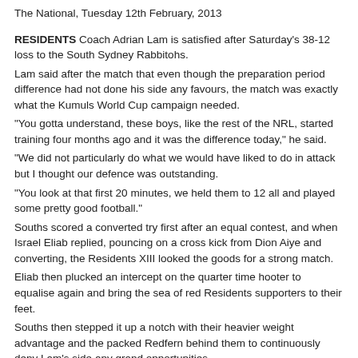The National, Tuesday 12th February, 2013
RESIDENTS Coach Adrian Lam is satisfied after Saturday's 38-12 loss to the South Sydney Rabbitohs.
Lam said after the match that even though the preparation period difference had not done his side any favours, the match was exactly what the Kumuls World Cup campaign needed.
"You gotta understand, these boys, like the rest of the NRL, started training four months ago and it was the difference today," he said.
"We did not particularly do what we would have liked to do in attack but I thought our defence was outstanding.
"You look at that first 20 minutes, we held them to 12 all and played some pretty good football."
Souths scored a converted try first after an equal contest, and when Israel Eliab replied, pouncing on a cross kick from Dion Aiye and converting, the Residents XIII looked the goods for a strong match.
Eliab then plucked an intercept on the quarter time hooter to equalise again and bring the sea of red Residents supporters to their feet.
Souths then stepped it up a notch with their heavier weight advantage and the packed Redfern behind them to continuously deny Lam's side any grand opportunities.
Fitness eventually showed on the scoreboard.